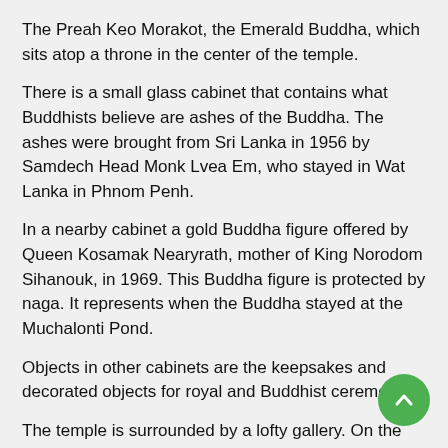The Preah Keo Morakot, the Emerald Buddha, which sits atop a throne in the center of the temple.
There is a small glass cabinet that contains what Buddhists believe are ashes of the Buddha. The ashes were brought from Sri Lanka in 1956 by Samdech Head Monk Lvea Em, who stayed in Wat Lanka in Phnom Penh.
In a nearby cabinet a gold Buddha figure offered by Queen Kosamak Nearyrath, mother of King Norodom Sihanouk, in 1969. This Buddha figure is protected by naga. It represents when the Buddha stayed at the Muchalonti Pond.
Objects in other cabinets are the keepsakes and decorated objects for royal and Buddhist ceremonies.
The temple is surrounded by a lofty gallery. On the wall of the gallery, there are traditional paintings of the entire Ream Ke epic. These paintings were done by 40 Cambodian artists between 1903 and 1904 under the direction of Oknha Tep Nimit. The Ream painting is 642 meters long and 3 meters high. It starts from south of the eastern gallery and winds its way around the gallery.